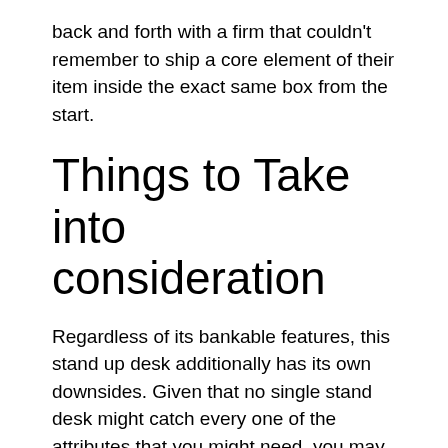back and forth with a firm that couldn't remember to ship a core element of their item inside the exact same box from the start.
Things to Take into consideration
Regardless of its bankable features, this stand up desk additionally has its own downsides. Given that no single stand desk might catch every one of the attributes that you might need, you may take into consideration these in your decision-making.
Absence of a Bar as